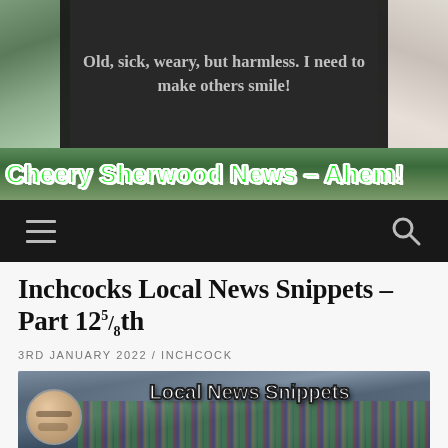Old, sick, weary, but harmless. I need to make others smile!
Cheery Sherwood News - Ahem!
Inchcocks Local News Snippets - Part 12⅝th
3RD JANUARY 2022 / INCHCOCK
[Figure (photo): Crowd scene photo with 'Local News Snippets' text overlay and a man's face in the lower left corner]